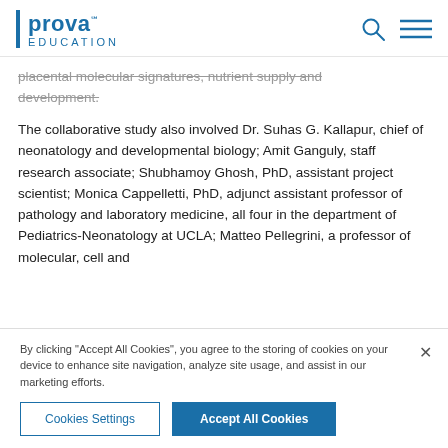Prova Education
placental molecular signatures, nutrient supply and development.
The collaborative study also involved Dr. Suhas G. Kallapur, chief of neonatology and developmental biology; Amit Ganguly, staff research associate; Shubhamoy Ghosh, PhD, assistant project scientist; Monica Cappelletti, PhD, adjunct assistant professor of pathology and laboratory medicine, all four in the department of Pediatrics-Neonatology at UCLA; Matteo Pellegrini, a professor of molecular, cell and
By clicking "Accept All Cookies", you agree to the storing of cookies on your device to enhance site navigation, analyze site usage, and assist in our marketing efforts.
Cookies Settings   Accept All Cookies